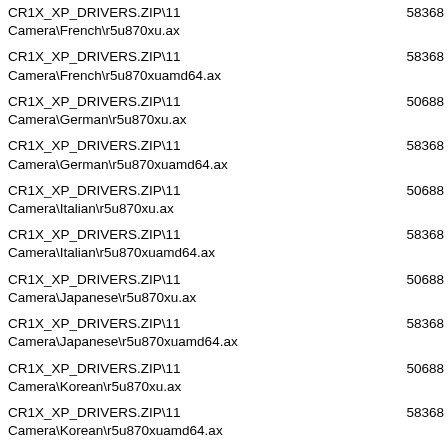| File Path | Size |
| --- | --- |
| CR1X_XP_DRIVERS.ZIP\11 Camera\French\r5u870xu.ax | 58368 |
| CR1X_XP_DRIVERS.ZIP\11
Camera\French\r5u870xuamd64.ax | 58368 |
| CR1X_XP_DRIVERS.ZIP\11
Camera\German\r5u870xu.ax | 50688 |
| CR1X_XP_DRIVERS.ZIP\11
Camera\German\r5u870xuamd64.ax | 58368 |
| CR1X_XP_DRIVERS.ZIP\11 Camera\Italian\r5u870xu.ax | 50688 |
| CR1X_XP_DRIVERS.ZIP\11
Camera\Italian\r5u870xuamd64.ax | 58368 |
| CR1X_XP_DRIVERS.ZIP\11
Camera\Japanese\r5u870xu.ax | 50688 |
| CR1X_XP_DRIVERS.ZIP\11
Camera\Japanese\r5u870xuamd64.ax | 58368 |
| CR1X_XP_DRIVERS.ZIP\11 Camera\Korean\r5u870xu.ax | 50688 |
| CR1X_XP_DRIVERS.ZIP\11
Camera\Korean\r5u870xuamd64.ax | 58368 |
| CR1X_XP_DRIVERS.ZIP\11
Camera\Russian\r5u870xu.ax | 50688 |
| CR1X_XP_DRIVERS.ZIP\11
Camera\Russian\r5u870xuamd64.ax | 58368 |
| CR1X_XP_DRIVERS.ZIP\11
Camera\Spanish\r5u870xu.ax | 50688 |